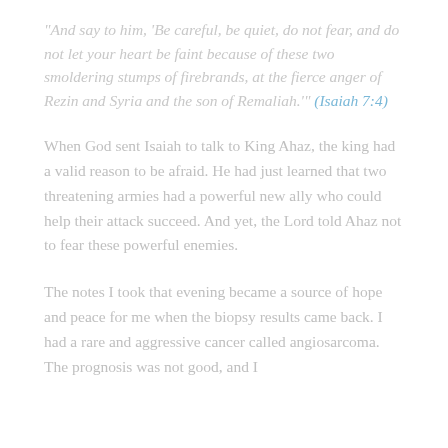"And say to him, 'Be careful, be quiet, do not fear, and do not let your heart be faint because of these two smoldering stumps of firebrands, at the fierce anger of Rezin and Syria and the son of Remaliah.'" (Isaiah 7:4)
When God sent Isaiah to talk to King Ahaz, the king had a valid reason to be afraid. He had just learned that two threatening armies had a powerful new ally who could help their attack succeed. And yet, the Lord told Ahaz not to fear these powerful enemies.
The notes I took that evening became a source of hope and peace for me when the biopsy results came back. I had a rare and aggressive cancer called angiosarcoma. The prognosis was not good, and I